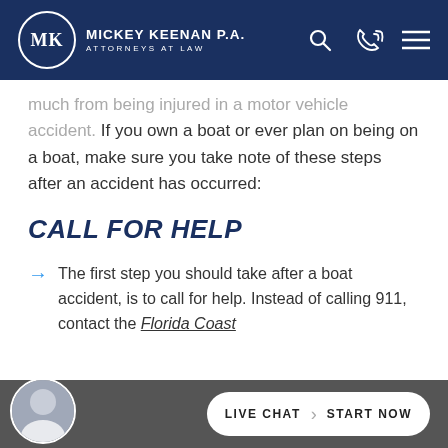MICKEY KEENAN P.A. ATTORNEYS AT LAW
much from being injured in a motor vehicle accident. If you own a boat or ever plan on being on a boat, make sure you take note of these steps after an accident has occurred:
CALL FOR HELP
The first step you should take after a boat accident, is to call for help. Instead of calling 911, contact the Florida Coast
LIVE CHAT  START NOW